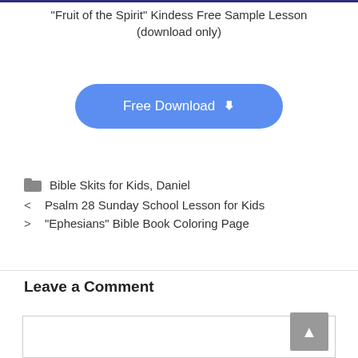"Fruit of the Spirit" Kindess Free Sample Lesson (download only)
[Figure (other): Blue rounded rectangle button labeled 'Free Download' with a download arrow icon]
Bible Skits for Kids, Daniel
< Psalm 28 Sunday School Lesson for Kids
> "Ephesians" Bible Book Coloring Page
Leave a Comment